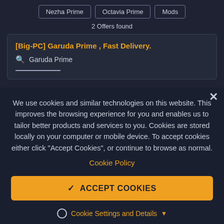Nezha Prime
Octavia Prime
Mods
2 Offers found
[Big-PC] Garuda Prime , Fast Delivery.
Garuda Prime
We use cookies and similar technologies on this website. This improves the browsing experience for you and enables us to tailor better products and services to you. Cookies are stored locally on your computer or mobile device. To accept cookies either click "Accept Cookies", or continue to browse as normal.
Cookie Policy
ACCEPT COOKIES
Cookie Settings and Details